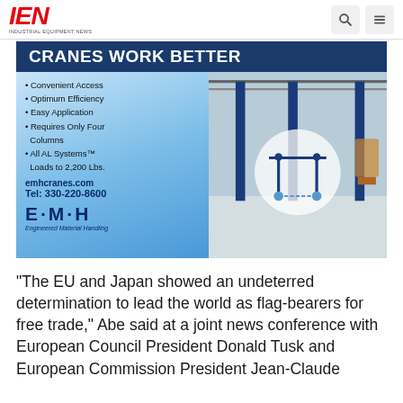IEN — Industrial Equipment News
[Figure (infographic): EMH Cranes advertisement. Header: 'CRANES WORK BETTER'. Bullet points: Convenient Access, Optimum Efficiency, Easy Application, Requires Only Four Columns, All AL Systems™ Loads to 2,200 Lbs. emhcranes.com Tel: 330-220-8600. E·M·H Engineered Material Handling logo. Right side shows industrial crane photo and diagram.]
"The EU and Japan showed an undeterred determination to lead the world as flag-bearers for free trade," Abe said at a joint news conference with European Council President Donald Tusk and European Commission President Jean-Claude